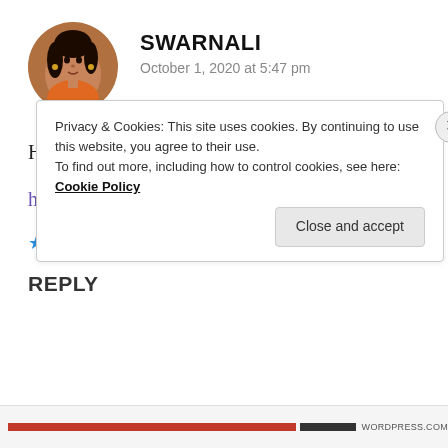[Figure (photo): Circular avatar photo of a woman with dark hair wearing an orange outfit, set against a natural background.]
SWARNALI
October 1, 2020 at 5:47 pm
Happy birthday in advance. And good thoughts.
https://swarnaz.com/
★ Liked by 1 person
REPLY
Privacy & Cookies: This site uses cookies. By continuing to use this website, you agree to their use.
To find out more, including how to control cookies, see here: Cookie Policy
Close and accept